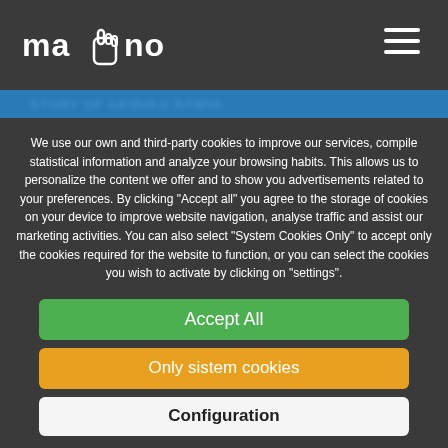mano [logo] navigation header
Story of Akiniko Ramin
We use our own and third-party cookies to improve our services, compile statistical information and analyze your browsing habits. This allows us to personalize the content we offer and to show you advertisements related to your preferences. By clicking "Accept all" you agree to the storage of cookies on your device to improve website navigation, analyse traffic and assist our marketing activities. You can also select "System Cookies Only" to accept only the cookies required for the website to function, or you can select the cookies you wish to activate by clicking on "settings".
Accept All
Only sistem cookies
Configuration